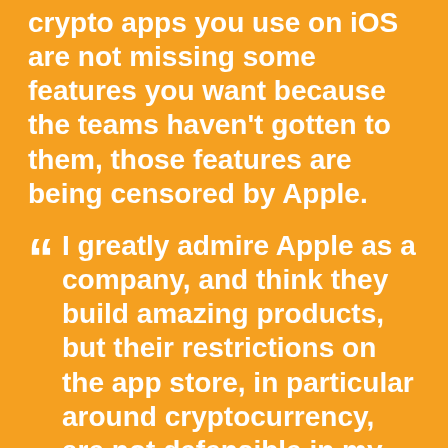crypto apps you use on iOS are not missing some features you want because the teams haven't gotten to them, those features are being censored by Apple.
I greatly admire Apple as a company, and think they build amazing products, but their restrictions on the app store, in particular around cryptocurrency, are not defensible in my view, and they are holding back progress in the world.